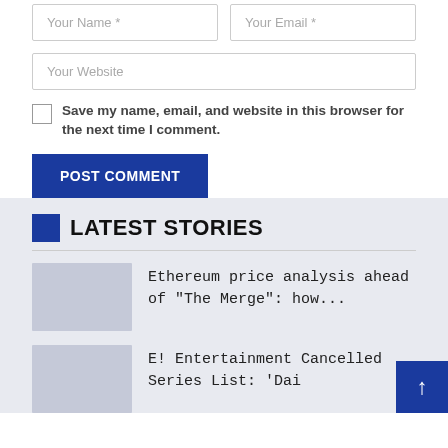Your Name *
Your Email *
Your Website
Save my name, email, and website in this browser for the next time I comment.
POST COMMENT
LATEST STORIES
Ethereum price analysis ahead of “The Merge”: how...
E! Entertainment Cancelled Series List: ‘Dai